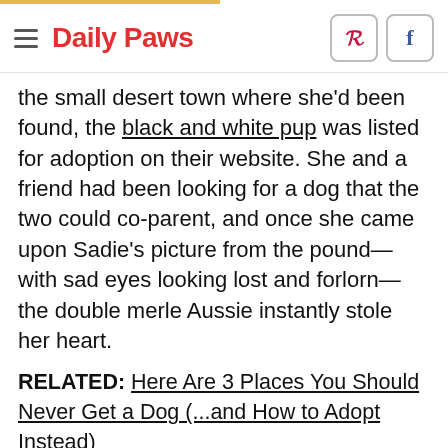Daily Paws
the small desert town where she'd been found, the black and white pup was listed for adoption on their website. She and a friend had been looking for a dog that the two could co-parent, and once she came upon Sadie's picture from the pound—with sad eyes looking lost and forlorn—the double merle Aussie instantly stole her heart.
RELATED: Here Are 3 Places You Should Never Get a Dog (...and How to Adopt Instead)
After she was adopted, Bethany says it too